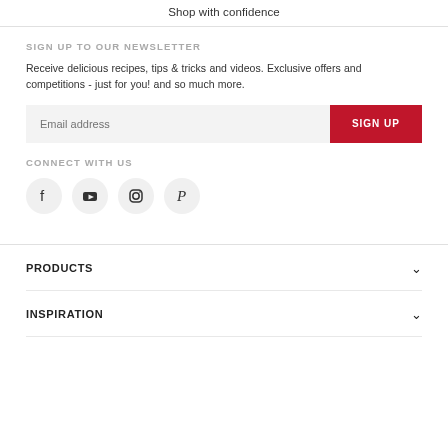Shop with confidence
SIGN UP TO OUR NEWSLETTER
Receive delicious recipes, tips & tricks and videos. Exclusive offers and competitions - just for you! and so much more.
Email address | SIGN UP
CONNECT WITH US
[Figure (illustration): Social media icons: Facebook, YouTube, Instagram, Pinterest]
PRODUCTS
INSPIRATION